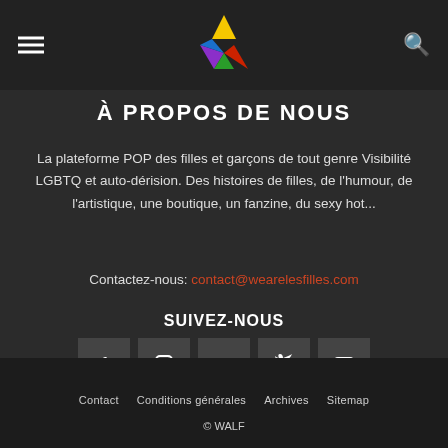Navigation header with logo, hamburger menu, and search icon
À PROPOS DE NOUS
La plateforme POP des filles et garçons de tout genre Visibilité LGBTQ et auto-dérision. Des histoires de filles, de l'humour, de l'artistique, une boutique, un fanzine, du sexy hot...
Contactez-nous: contact@wearelesfilles.com
SUIVEZ-NOUS
[Figure (illustration): Row of five social media icon buttons: Facebook, Instagram, RSS, Twitter, YouTube]
Contact   Conditions générales   Archives   Sitemap   © WALF